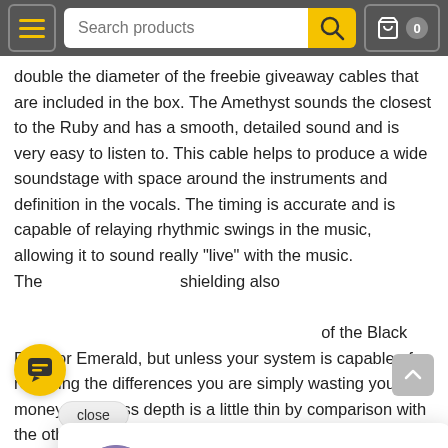Search products
double the diameter of the freebie giveaway cables that are included in the box. The Amethyst sounds the closest to the Ruby and has a smooth, detailed sound and is very easy to listen to. This cable helps to produce a wide soundstage with space around the instruments and definition in the vocals. The timing is accurate and is capable of relaying rhythmic swings in the music, allowing it to sound really "live" with the music. The shielding also
[Figure (photo): Chat popup with avatar photo of a man, text reading: Hi there, have a question? Text us here. Also shows a close button and yellow chat bubble icon.]
of the Black Pearl or Emerald, but unless your system is capable of resolving the differences you are simply wasting your money. The bass depth is a little thin by comparison with the others in the range but this may suit a system where